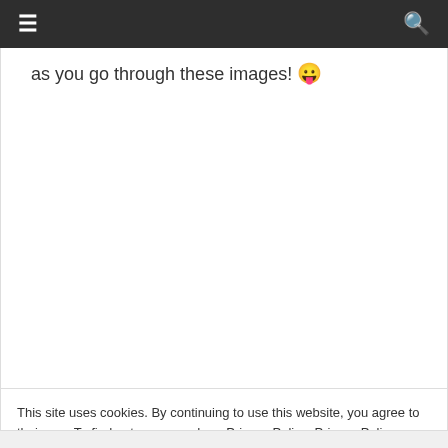≡ 🔍
as you go through these images! 😛
This site uses cookies. By continuing to use this website, you agree to their use. To find out more, read our Privacy Policy: Privacy Policy
Close and accept